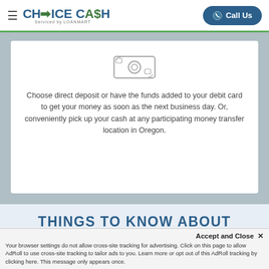ChoiceCash Serviced by LoanMart | Call Us
[Figure (illustration): Money/cash bill icon outline]
Choose direct deposit or have the funds added to your debit card to get your money as soon as the next business day. Or, conveniently pick up your cash at any participating money transfer location in Oregon.
THINGS TO KNOW ABOUT
[Figure (logo): Large ChoiceCash watermark logo]
Accept and Close ✕
Your browser settings do not allow cross-site tracking for advertising. Click on this page to allow AdRoll to use cross-site tracking to tailor ads to you. Learn more or opt out of this AdRoll tracking by clicking here. This message only appears once.